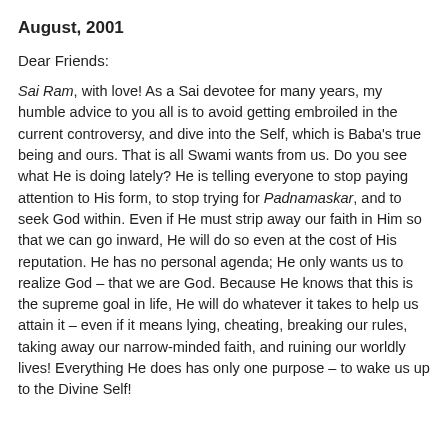August, 2001
Dear Friends:
Sai Ram, with love! As a Sai devotee for many years, my humble advice to you all is to avoid getting embroiled in the current controversy, and dive into the Self, which is Baba's true being and ours. That is all Swami wants from us. Do you see what He is doing lately? He is telling everyone to stop paying attention to His form, to stop trying for Padnamaskar, and to seek God within. Even if He must strip away our faith in Him so that we can go inward, He will do so even at the cost of His reputation. He has no personal agenda; He only wants us to realize God – that we are God. Because He knows that this is the supreme goal in life, He will do whatever it takes to help us attain it – even if it means lying, cheating, breaking our rules, taking away our narrow-minded faith, and ruining our worldly lives! Everything He does has only one purpose – to wake us up to the Divine Self!